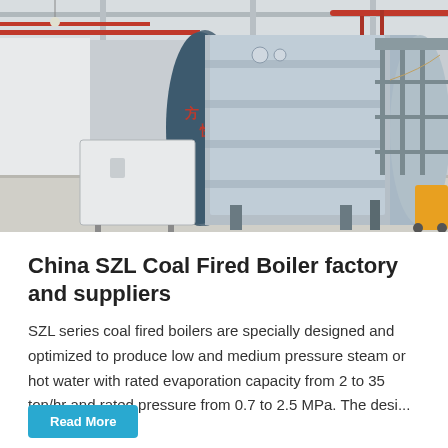[Figure (photo): Industrial coal fired boiler equipment in a factory setting. A large horizontal cylindrical steel boiler with blue dome end is mounted on a support frame with scaffolding on the right. A white rectangular control box sits in front. Red and silver pipes run overhead. The floor is polished concrete. A yellow cart is visible at the right edge.]
China SZL Coal Fired Boiler factory and suppliers
SZL series coal fired boilers are specially designed and optimized to produce low and medium pressure steam or hot water with rated evaporation capacity from 2 to 35 ton/hr and rated pressure from 0.7 to 2.5 MPa. The desi...